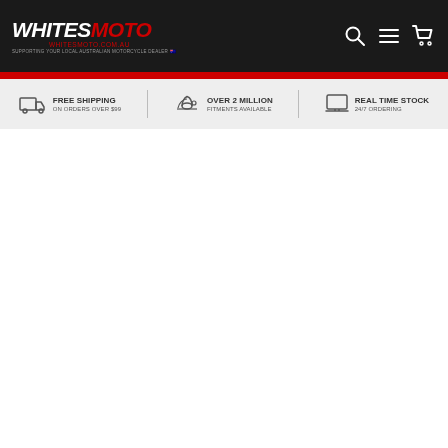WhitesMoto — whitesmoto.com.au — Supporting your local Australian motorcycle dealer
FREE SHIPPING ON ORDERS OVER $99 | OVER 2 MILLION FITMENTS AVAILABLE | REAL TIME STOCK 24/7 ORDERING